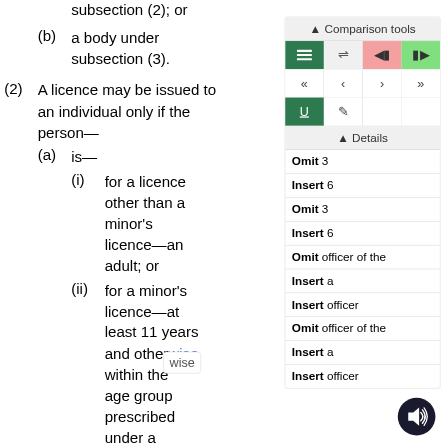subsection (2); or
(b) a body under subsection (3).
(2) A licence may be issued to an individual only if the person—
(a) is—
(i) for a licence other than a minor's licence—an adult; or
(ii) for a minor's licence—at least 11 years and otherwise within the age group prescribed under a
wise (tooltip)
Comparison tools
Omit 3
Insert 6
Omit 3
Insert 6
Omit officer of the
Insert a
Insert officer
Omit officer of the
Insert a
Insert officer
[Figure (illustration): Speaker/audio icon button — dark circle with white speaker and sound wave symbol]